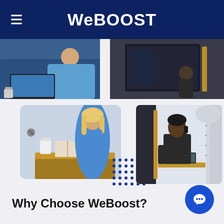WeBOOST
[Figure (photo): Four photos showing people working: top-left person using laptop on train/transit seat in blue top, top-right photo booth or dark kiosk interior, bottom-left woman in blue sweater at desk with coffee cup and book in a pod workspace, bottom-right man in dark suit talking on phone with laptop in a phone/work booth]
Why Choose WeBoost?